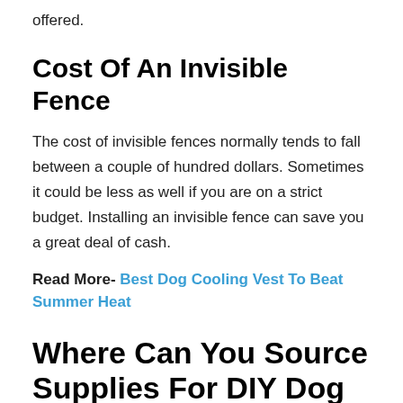offered.
Cost Of An Invisible Fence
The cost of invisible fences normally tends to fall between a couple of hundred dollars. Sometimes it could be less as well if you are on a strict budget. Installing an invisible fence can save you a great deal of cash.
Read More- Best Dog Cooling Vest To Beat Summer Heat
Where Can You Source Supplies For DIY Dog Fences?
When it comes to finding all the supplies to create a DIY dog fence depends on the plan you choose and the overall budget.